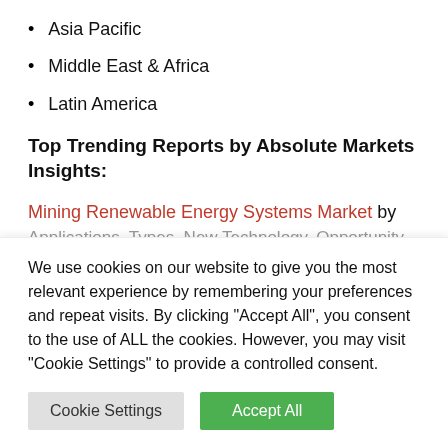Asia Pacific
Middle East & Africa
Latin America
Top Trending Reports by Absolute Markets Insights:
Mining Renewable Energy Systems Market by
Applications, Types, New Technology, Opportunity...
We use cookies on our website to give you the most relevant experience by remembering your preferences and repeat visits. By clicking "Accept All", you consent to the use of ALL the cookies. However, you may visit "Cookie Settings" to provide a controlled consent.